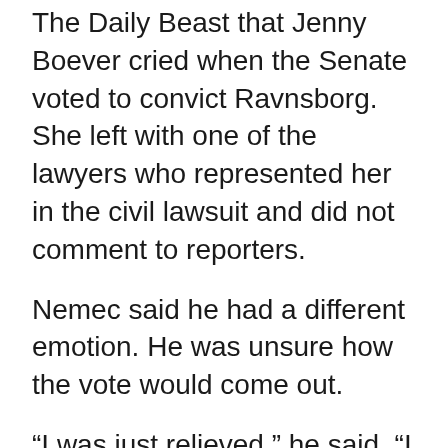The Daily Beast that Jenny Boever cried when the Senate voted to convict Ravnsborg. She left with one of the lawyers who represented her in the civil lawsuit and did not comment to reporters.
Nemec said he had a different emotion. He was unsure how the vote would come out.
“I was just relieved,” he said. “I was scared to try to make a prediction.”
Nemec, who was at every court and legislative hearing, had previously said he wasn’t pleased by how it played out.
“A lot of people around the state have told me there’s two systems of justice, one for